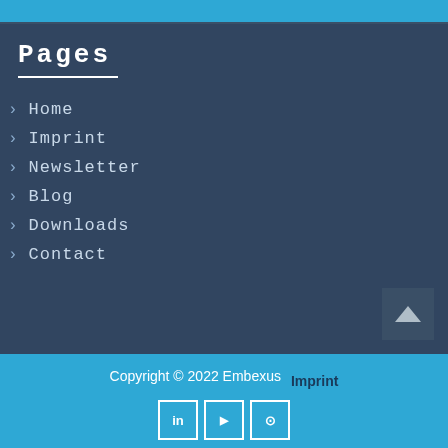Pages
Home
Imprint
Newsletter
Blog
Downloads
Contact
Copyright © 2022 Embexus  Imprint